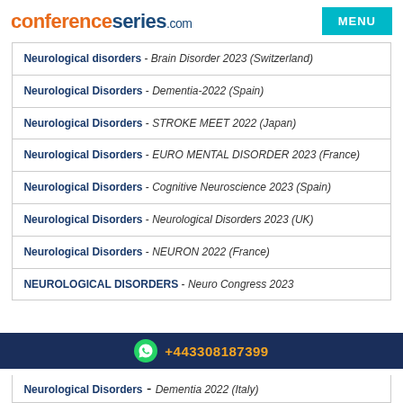conferenceseries.com
Neurological disorders - Brain Disorder 2023 (Switzerland)
Neurological Disorders - Dementia-2022 (Spain)
Neurological Disorders - STROKE MEET 2022 (Japan)
Neurological Disorders - EURO MENTAL DISORDER 2023 (France)
Neurological Disorders - Cognitive Neuroscience 2023 (Spain)
Neurological Disorders - Neurological Disorders 2023 (UK)
Neurological Disorders - NEURON 2022 (France)
NEUROLOGICAL DISORDERS - Neuro Congress 2023
+443308187399
Neurological Disorders - Dementia 2022 (Italy)